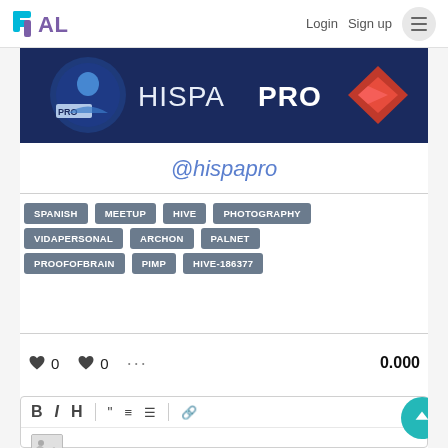PAL  Login  Sign up
[Figure (illustration): HISPAPRO banner with dark blue background, PRO badge icon on left, HISPAPRO text in center, Hive logo (red diamond) on right]
@hispapro
SPANISH
MEETUP
HIVE
PHOTOGRAPHY
VIDAPERSONAL
ARCHON
PALNET
PROOFOFBRAIN
PIMP
HIVE-186377
♥ 0  ♥ 0  ···  0.000